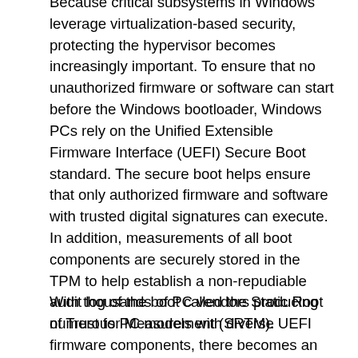Because critical subsystems in Windows leverage virtualization-based security, protecting the hypervisor becomes increasingly important. To ensure that no unauthorized firmware or software can start before the Windows bootloader, Windows PCs rely on the Unified Extensible Firmware Interface (UEFI) Secure Boot standard. The secure boot helps ensure that only authorized firmware and software with trusted digital signatures can execute. In addition, measurements of all boot components are securely stored in the TPM to help establish a non-repudiable audit log of the boot called the Static Root of Trust for Measurement (SRTM).
With thousands of PC vendors producing numerous PC models with diverse UEFI firmware components, there becomes an incredibly large number of SRTM signatures and measurements at bootup that are inherently trusted by secure boot, making it more challenging to constrain trust on any particular device to only what is needed to boot that device. Two techniques exist to constrain trust: either